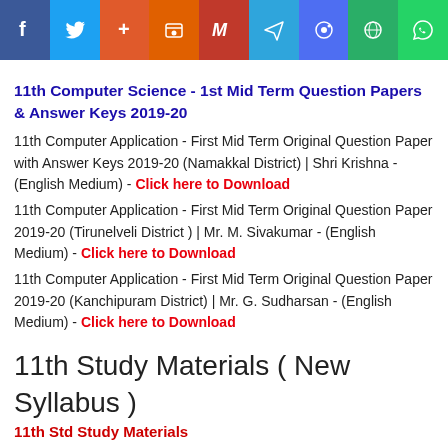[Figure (infographic): Social media sharing icons bar: Facebook, Twitter, Google+, Blogger, Gmail, Telegram, Messenger, WeChat, WhatsApp]
11th Computer Science - 1st Mid Term Question Papers & Answer Keys 2019-20
11th Computer Application - First Mid Term Original Question Paper with Answer Keys 2019-20 (Namakkal District) | Shri Krishna - (English Medium) - Click here to Download
11th Computer Application - First Mid Term Original Question Paper 2019-20 (Tirunelveli District ) | Mr. M. Sivakumar - (English Medium) - Click here to Download
11th Computer Application - First Mid Term Original Question Paper 2019-20 (Kanchipuram District) | Mr. G. Sudharsan - (English Medium) - Click here to Download
11th Study Materials ( New Syllabus )
11th Std Study Materials